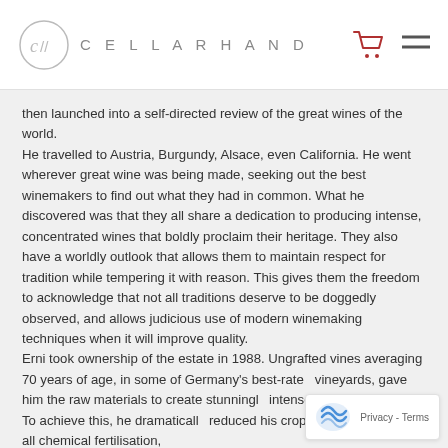CELLARHAND
then launched into a self-directed review of the great wines of the world. He travelled to Austria, Burgundy, Alsace, even California. He went wherever great wine was being made, seeking out the best winemakers to find out what they had in common. What he discovered was that they all share a dedication to producing intense, concentrated wines that boldly proclaim their heritage. They also have a worldly outlook that allows them to maintain respect for tradition while tempering it with reason. This gives them the freedom to acknowledge that not all traditions deserve to be doggedly observed, and allows judicious use of modern winemaking techniques when it will improve quality. Erni took ownership of the estate in 1988. Ungrafted vines averaging 70 years of age, in some of Germany's best-rated vineyards, gave him the raw materials to create stunningly intense, world-class wines. To achieve this, he dramatically reduced his crop size and stopped all chemical fertilisation,